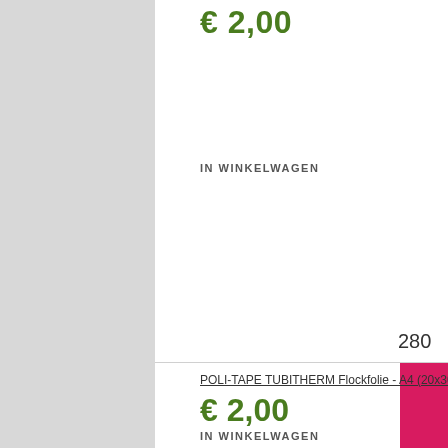€ 2,00
IN WINKELWAGEN
[Figure (photo): Pink product swatch square - Flockfolie pink color sample]
280
POLI-TAPE TUBITHERM Flockfolie - A4 (20x30,5cm) - Pink (PLT2...
€ 2,00
IN WINKELWAGEN